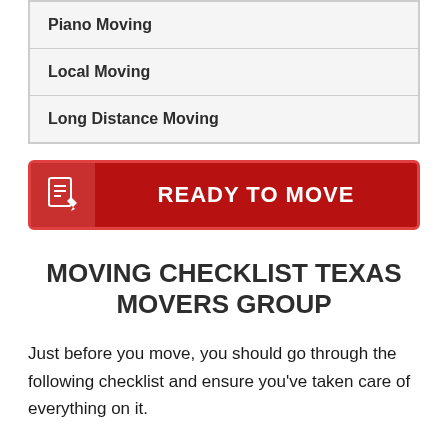Piano Moving
Local Moving
Long Distance Moving
[Figure (other): Red call-to-action button with PDF icon on left and 'READY TO MOVE' text in bold white capitals]
MOVING CHECKLIST TEXAS MOVERS GROUP
Just before you move, you should go through the following checklist and ensure you've taken care of everything on it.